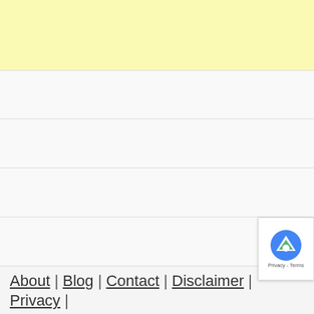[Figure (other): Yellow banner/advertisement placeholder area at the top of the page]
[Figure (other): reCAPTCHA badge in bottom-right corner showing Google reCAPTCHA logo]
About | Blog | Contact | Disclaimer | Privacy |